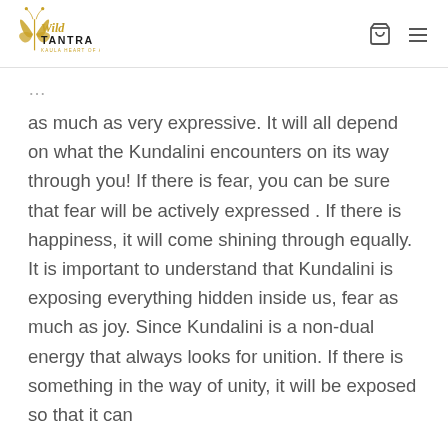Wild Tantra — Kaula Heart of All
as much as very expressive. It will all depend on what the Kundalini encounters on its way through you! If there is fear, you can be sure that fear will be actively expressed . If there is happiness, it will come shining through equally. It is important to understand that Kundalini is exposing everything hidden inside us, fear as much as joy. Since Kundalini is a non-dual energy that always looks for unition. If there is something in the way of unity, it will be exposed so that it can